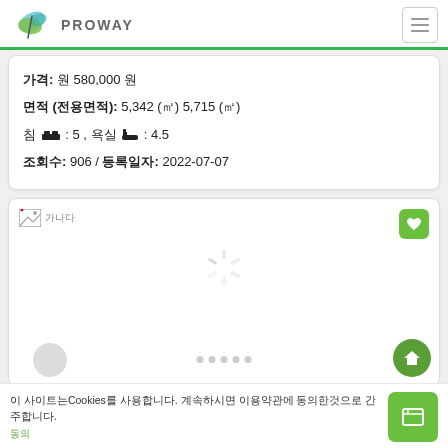PROWAY
가격: 원 580,000 원
면적 (전용면적): 5,342 (㎡) 5,715 (㎡)
침 🛏: 5 , 욕실 🛁: 4.5
조회수: 906 / 등록일자: 2022-07-07
[Figure (screenshot): Loading card with broken image icon on left, spinner in center, heart button on top right, home button on bottom right, navigation dots at bottom]
이 사이트는Cookies를 사용합니다. 계속하시면 이용약관에 동의한것으로 간주합니다.